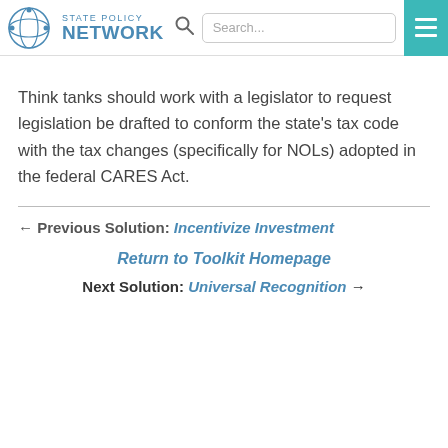STATE POLICY NETWORK
Think tanks should work with a legislator to request legislation be drafted to conform the state's tax code with the tax changes (specifically for NOLs) adopted in the federal CARES Act.
← Previous Solution: Incentivize Investment
Return to Toolkit Homepage
Next Solution: Universal Recognition →